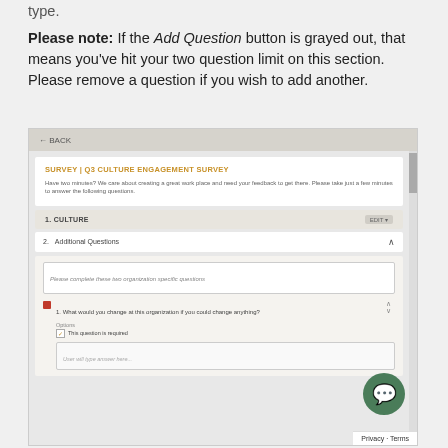type.
Please note: If the Add Question button is grayed out, that means you've hit your two question limit on this section. Please remove a question if you wish to add another.
[Figure (screenshot): Screenshot of a survey builder interface showing 'SURVEY | Q3 CULTURE ENGAGEMENT SURVEY' with a Culture section (item 1) and Additional Questions section (item 2) expanded, showing a question 'What would you change at this organization if you could change anything?' with a required checkbox, and a text answer area. A green chat bubble icon appears in the bottom right.]